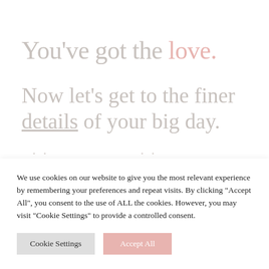You've got the love.
Now let's get to the finer details of your big day.
We use cookies on our website to give you the most relevant experience by remembering your preferences and repeat visits. By clicking “Accept All”, you consent to the use of ALL the cookies. However, you may visit “Cookie Settings” to provide a controlled consent.
Cookie Settings | Accept All